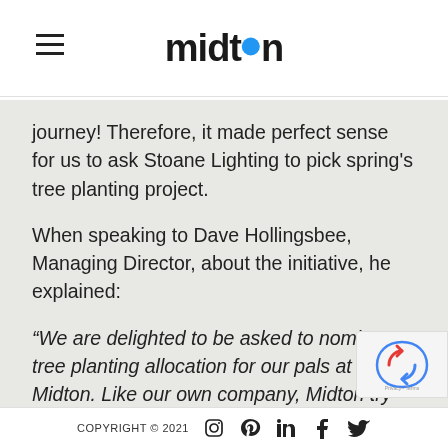midton
journey! Therefore, it made perfect sense for us to ask Stoane Lighting to pick spring's tree planting project.
When speaking to Dave Hollingsbee, Managing Director, about the initiative, he explained:
“We are delighted to be asked to nominate a tree planting allocation for our pals at Midton. Like our own company, Midton try hard to walk the walk and not just talk. Meaningful monitoring and quantification of our environmental impacts is essential, eclipsed only by the need to act on that information – now. This is one great way to do that. We applaud their initiative and hope that it inspires more to wake up and
COPYRIGHT © 2021